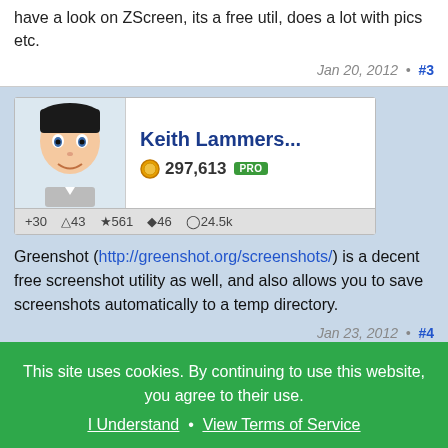have a look on ZScreen, its a free util, does a lot with pics etc.
Jan 20, 2012 • #3
[Figure (screenshot): User profile card for Keith Lammers with avatar, points 297,613, PRO badge, and stats: +30, 43, 561, 46, 24.5k]
Greenshot (http://greenshot.org/screenshots/) is a decent free screenshot utility as well, and also allows you to save screenshots automatically to a temp directory.
Jan 23, 2012 • #4
Michael98
This site uses cookies. By continuing to use this website, you agree to their use. I Understand • View Terms of Service